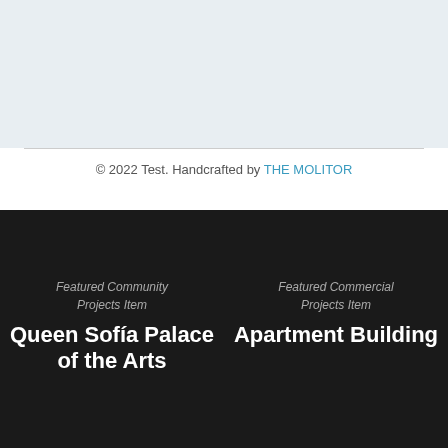[Figure (photo): Light blue-grey image placeholder at top of page]
© 2022 Test. Handcrafted by THE MOLITOR
Featured Community Projects Item
Queen Sofía Palace of the Arts
Featured Commercial Projects Item
Apartment Building